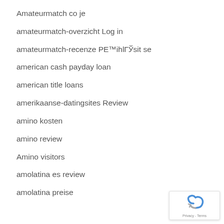Amateurmatch co je
amateurmatch-overzicht Log in
amateurmatch-recenze PЕ™ihlГЎsit se
american cash payday loan
american title loans
amerikaanse-datingsites Review
amino kosten
amino review
Amino visitors
amolatina es review
amolatina preise
[Figure (logo): Google reCAPTCHA badge with shield icon and Privacy - Terms text]